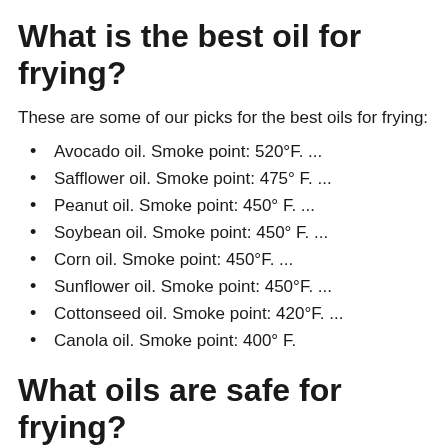What is the best oil for frying?
These are some of our picks for the best oils for frying:
Avocado oil. Smoke point: 520°F. ...
Safflower oil. Smoke point: 475° F. ...
Peanut oil. Smoke point: 450° F. ...
Soybean oil. Smoke point: 450° F. ...
Corn oil. Smoke point: 450°F. ...
Sunflower oil. Smoke point: 450°F. ...
Cottonseed oil. Smoke point: 420°F. ...
Canola oil. Smoke point: 400° F.
What oils are safe for frying?